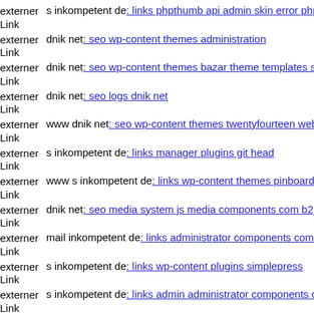externer Link s inkompetent de: links phpthumb api admin skin error php
externer Link dnik net: seo wp-content themes administration
externer Link dnik net: seo wp-content themes bazar theme templates slid
externer Link dnik net: seo logs dnik net
externer Link www dnik net: seo wp-content themes twentyfourteen web
externer Link s inkompetent de: links manager plugins git head
externer Link www s inkompetent de: links wp-content themes pinboard s
externer Link dnik net: seo media system js media components com b2jco
externer Link mail inkompetent de: links administrator components com a
externer Link s inkompetent de: links wp-content plugins simplepress
externer Link s inkompetent de: links admin administrator components co